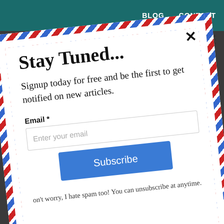BLOG   CONTACT
Stay Tuned...
Signup today for free and be the first to get notified on new articles.
Email *
Enter your email
Subscribe
Don't worry, I hate spam too! You can unsubscribe at anytime.
powered by MailMunch